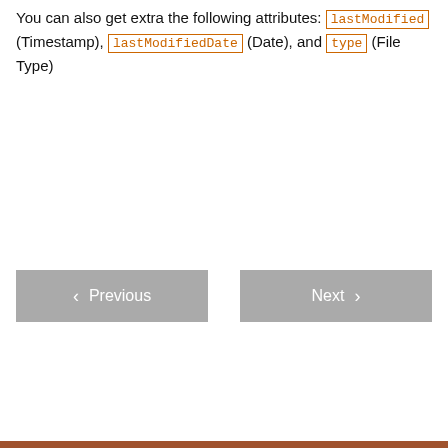You can also get extra the following attributes: lastModified (Timestamp), lastModifiedDate (Date), and type (File Type)
Previous
Next